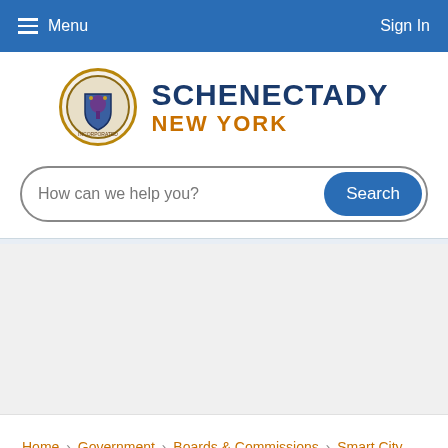Menu | Sign In
[Figure (logo): City of Schenectady seal and wordmark: SCHENECTADY NEW YORK]
How can we help you? Search
Home › Government › Boards & Commissions › Smart City Advisory Commission › Watching a Smart City Progress